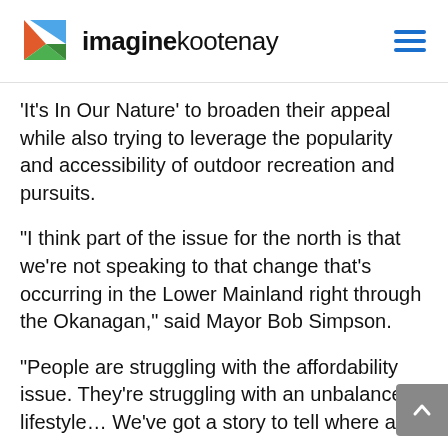[Figure (logo): imaginekootenay logo with colorful triangular icon and hamburger menu icon]
‘It’s In Our Nature’ to broaden their appeal while also trying to leverage the popularity and accessibility of outdoor recreation and pursuits.
“I think part of the issue for the north is that we’re not speaking to that change that’s occurring in the Lower Mainland right through the Okanagan,” said Mayor Bob Simpson.
“People are struggling with the affordability issue. They’re struggling with an unbalanced lifestyle… We’ve got a story to tell where all